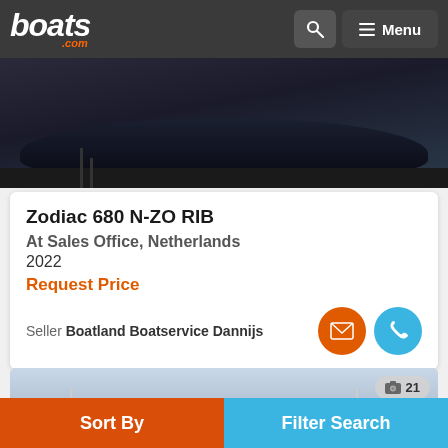boats.com — Menu
[Figure (photo): Bottom view of a dark blue boat hull in an indoor setting]
Zodiac 680 N-ZO RIB
At Sales Office, Netherlands
2022
Request Price
Seller Boatland Boatservice Dannijs
[Figure (photo): Boats moored at a marina dock with people walking around, banners visible, photo count badge showing camera icon and 21]
Sort By
Filter Search